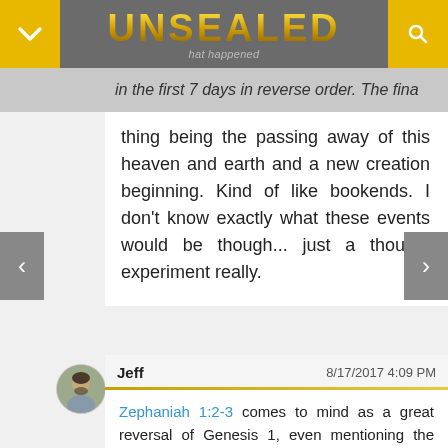UNSEALED — that happened in the first 7 days in reverse order. The fina
thing being the passing away of this heaven and earth and a new creation beginning. Kind of like bookends. I don't know exactly what these events would be though... just a thought experiment really.
Jeff  8/17/2017 4:09 PM
Zephaniah 1:2-3 comes to mind as a great reversal of Genesis 1, even mentioning the destruction of "man and beast," and "birds of the air" + "fish of the sea." This is in context of "the Day of the LORD" (1:7, 14-18).

Nice catch, Kris!